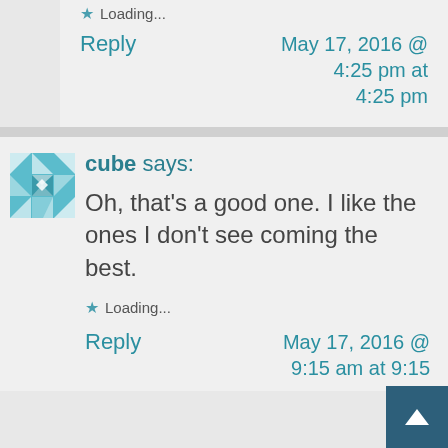Loading...
Reply   May 17, 2016 @ 4:25 pm at 4:25 pm
cube says:
Oh, that's a good one. I like the ones I don't see coming the best.
Loading...
Reply   May 17, 2016 @ 9:15 am at 9:15